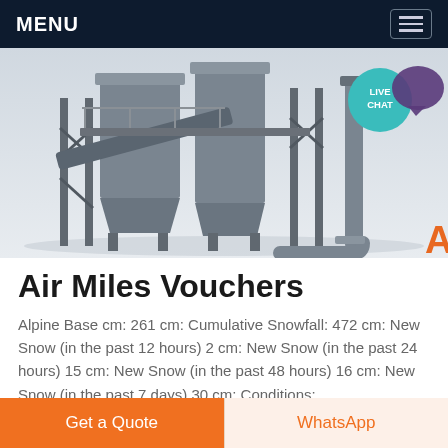MENU
[Figure (photo): Industrial equipment photo showing a large filter/dust collection unit with steel framework, pipes, and conveyors on a light background. A teal circular 'LIVE CHAT' badge and purple speech bubble icon are overlaid in the top right corner.]
Air Miles Vouchers
Alpine Base cm: 261 cm: Cumulative Snowfall: 472 cm: New Snow (in the past 12 hours) 2 cm: New Snow (in the past 24 hours) 15 cm: New Snow (in the past 48 hours) 16 cm: New Snow (in the past 7 days) 30 cm: Conditions:
Get a Quote | WhatsApp